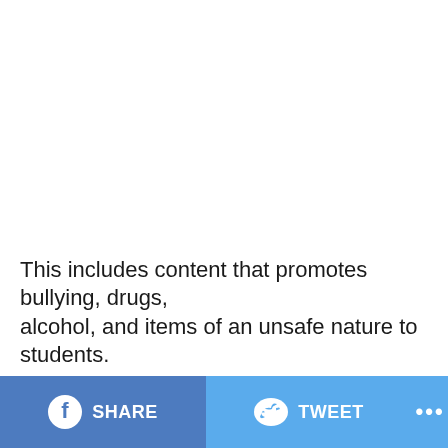This includes content that promotes bullying, drugs, alcohol, and items of an unsafe nature to students.
SHARE | TWEET | ...